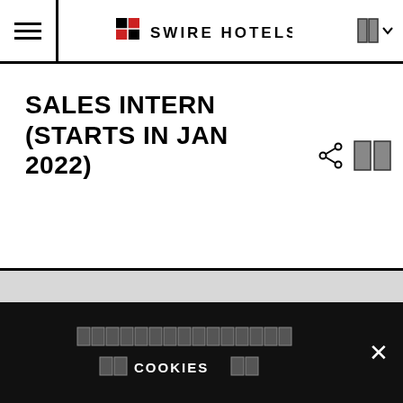[Figure (logo): Swire Hotels logo with red cross/diamond emblem and text SWIRE HOTELS in bold uppercase]
SALES INTERN (STARTS IN JAN 2022)
[Figure (other): Cookie consent banner with close button (x) on dark/black background]
COOKIES